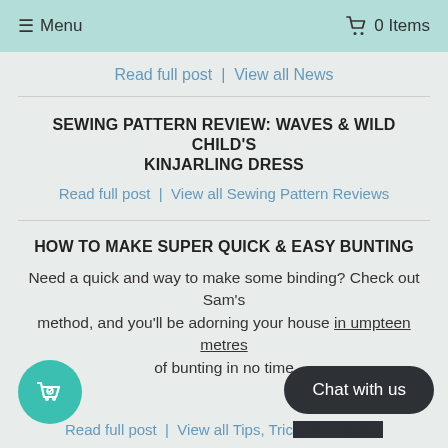☰ Menu   🛒 0 Items
Read full post  |  View all News
SEWING PATTERN REVIEW: WAVES & WILD CHILD'S KINJARLING DRESS
Read full post  |  View all Sewing Pattern Reviews
HOW TO MAKE SUPER QUICK & EASY BUNTING
Need a quick and way to make some binding? Check out Sam's method, and you'll be adorning your house in umpteen metres of bunting in no time
Read full post  |  View all Tips, Tricks & Tutorials